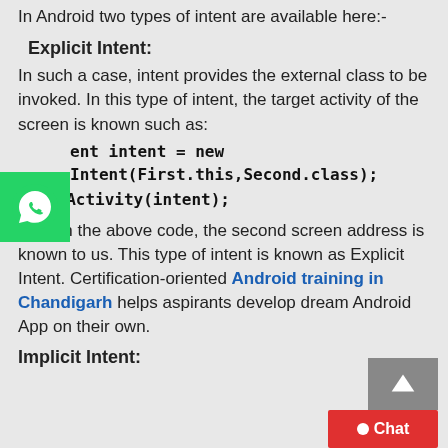In Android two types of intent are available here:-
Explicit Intent:
In such a case, intent provides the external class to be invoked. In this type of intent, the target activity of the screen is known such as:
Intent intent = new Intent(First.this,Second.class);
startActivity(intent);
Here in the above code, the second screen address is known to us. This type of intent is known as Explicit Intent. Certification-oriented Android training in Chandigarh helps aspirants develop dream Android App on their own.
Implicit Intent:
[Figure (logo): WhatsApp icon - green background with white WhatsApp logo]
[Figure (other): Back to top button - grey background with upward arrow]
[Figure (other): Chat button - red background with white dot and Chat text]